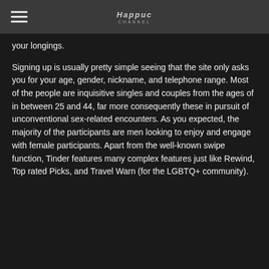Happuc
your longings.
Signing up is usually pretty simple seeing that the site only asks you for your age, gender, nickname, and telephone range. Most of the people are inquisitive singles and couples from the ages of in between 25 and 44, far more consequently these in pursuit of unconventional sex-related encounters. As you expected, the majority of the participants are men looking to enjoy and engage with female participants. Apart from the well-known swipe function, Tinder features many complex features just like Rewind, Top rated Picks, and Travel Warn (for the LGBTQ+ community).